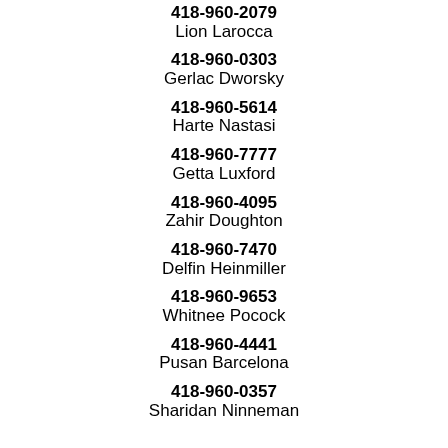418-960-2079
Lion Larocca
418-960-0303
Gerlac Dworsky
418-960-5614
Harte Nastasi
418-960-7777
Getta Luxford
418-960-4095
Zahir Doughton
418-960-7470
Delfin Heinmiller
418-960-9653
Whitnee Pocock
418-960-4441
Pusan Barcelona
418-960-0357
Sharidan Ninneman